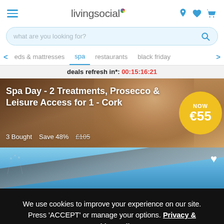livingsocial
what are you looking for?
eds & mattresses  spa  restaurants  black friday
deals refresh in*: 00:15:16:21
[Figure (photo): Spa treatment photo - person receiving massage, warm tones]
Spa Day - 2 Treatments, Prosecco & Leisure Access for 1 - Cork
3 Bought   Save 48%   £105   NOW €55
[Figure (photo): Hotel exterior photo with blue sky and tree branches]
We use cookies to improve your experience on our site. Press 'ACCEPT' or manage your options. Privacy & Cookies Policy
Options
ACCEPT